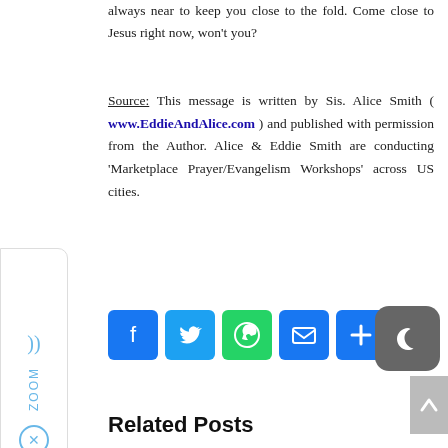always near to keep you close to the fold. Come close to Jesus right now, won't you?
Source: This message is written by Sis. Alice Smith ( www.EddieAndAlice.com ) and published with permission from the Author. Alice & Eddie Smith are conducting 'Marketplace Prayer/Evangelism Workshops' across US cities.
[Figure (infographic): Social sharing buttons: Facebook, Twitter, WhatsApp, Email, and Share (plus icon)]
Related Posts